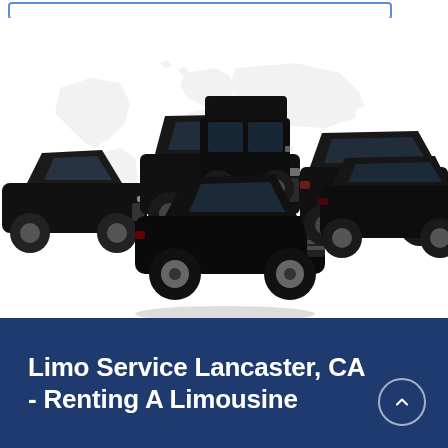[Figure (photo): Collection of black luxury vehicles (sedan, SUV, van/shuttle, limousine, premium SUV) arranged in a group shot against a world map background on white]
Limo Service Lancaster, CA - Renting A Limousine